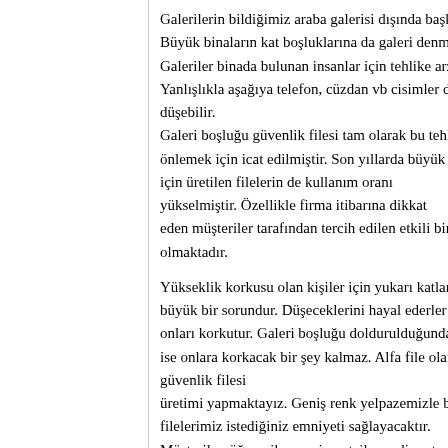Galerilerin bildiğimiz araba galerisi dışında başka bir anlamı daha va Büyük binaların kat boşluklarına da galeri denmektedir. Galeriler binada bulunan insanlar için tehlike arz eden boşluklardır. Yanlışlıkla aşağıya telefon, cüzdan vb cisimler düşürülebileceği gibi düşebilir. Galeri boşluğu güvenlik filesi tam olarak bu tehlikeyi önlemek için icat edilmiştir. Son yıllarda büyük binaların artması ile için üretilen filelerin de kullanım oranı yükselmiştir. Özellikle firma itibarına dikkat eden müşteriler tarafından tercih edilen etkili bir çözüm olmaktadır.
Yükseklik korkusu olan kişiler için yukarı katlara çıkmak büyük bir sorundur. Düşeceklerini hayal ederler ve bu onları korkutur. Galeri boşluğu doldurulduğunda ise onlara korkacak bir şey kalmaz. Alfa file olarak istenilen ölçülerd güvenlik filesi üretimi yapmaktayız. Geniş renk yelpazemizle birlikte kaliteden ödü filelerimiz istediğiniz emniyeti sağlayacaktır. Müşteriler, öğrenciler ve ziyaretçiler endişe etmeden binayı gezebile
Galeri boşluğu güvenlik filesi tercih edilir bir üretim olmaktadır. Birçok yönden faydası bulunmakla